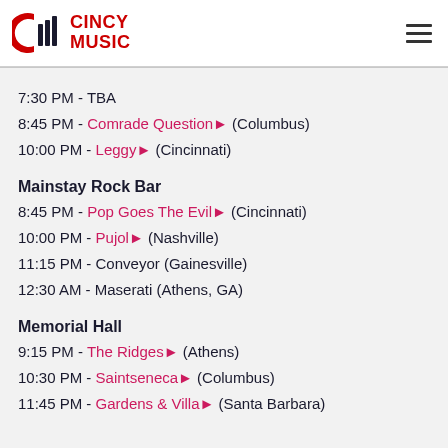CINCY MUSIC
7:30 PM - TBA
8:45 PM - Comrade Question (Columbus)
10:00 PM - Leggy (Cincinnati)
Mainstay Rock Bar
8:45 PM - Pop Goes The Evil (Cincinnati)
10:00 PM - Pujol (Nashville)
11:15 PM - Conveyor (Gainesville)
12:30 AM - Maserati (Athens, GA)
Memorial Hall
9:15 PM - The Ridges (Athens)
10:30 PM - Saintseneca (Columbus)
11:45 PM - Gardens & Villa (Santa Barbara)